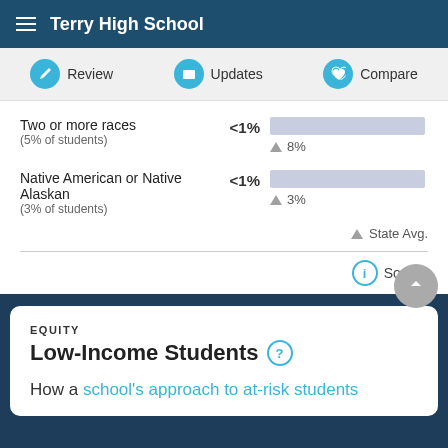Terry High School
Review | Updates | Compare
Two or more races (5% of students) <1% ▲ 8%
Native American or Native Alaskan (3% of students) <1% ▲ 3%
▲ State Avg.
ⓘ Source
EQUITY
Low-Income Students ?
How a school's approach to at-risk students